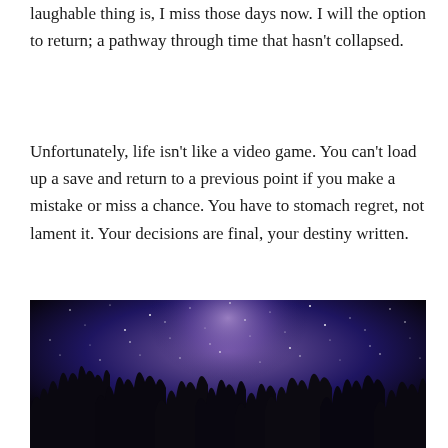laughable thing is, I miss those days now. I will the option to return; a pathway through time that hasn't collapsed.
Unfortunately, life isn't like a video game. You can't load up a save and return to a previous point if you make a mistake or miss a chance. You have to stomach regret, not lament it. Your decisions are final, your destiny written.
[Figure (photo): Night sky photograph showing the Milky Way galaxy with purple and blue tones, with silhouetted conifer trees along the bottom edge.]